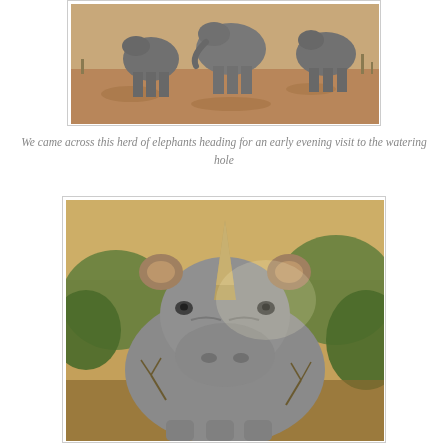[Figure (photo): A herd of elephants walking on dry savanna ground heading toward a watering hole, photographed in early evening light]
We came across this herd of elephants heading for an early evening visit to the watering hole
[Figure (photo): A close-up front-facing photograph of a rhinoceros with a prominent horn, surrounded by bushes and shrubs in an African savanna setting]